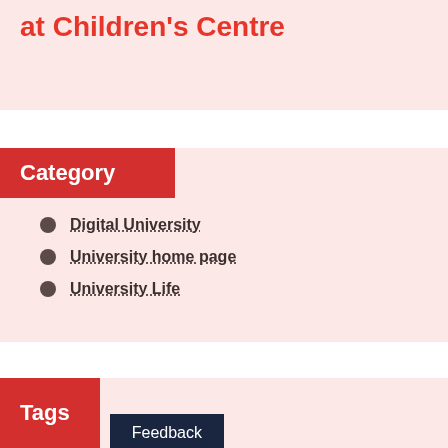at Children's Centre
Category
Digital University
University home page
University Life
Tags
Feedback